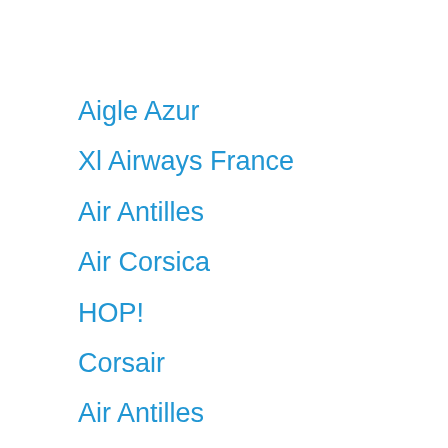Aigle Azur
Xl Airways France
Air Antilles
Air Corsica
HOP!
Corsair
Air Antilles
Air Corsica
Aurigny Air Services
TUI fly Netherlands